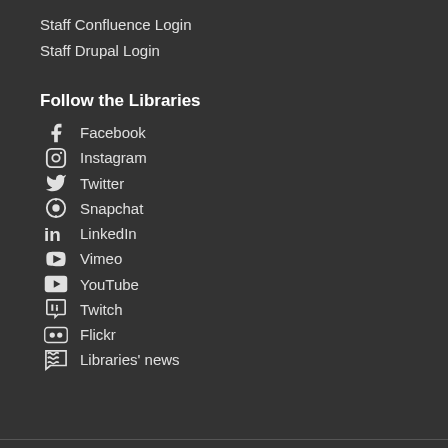Staff Confluence Login
Staff Drupal Login
Follow the Libraries
Facebook
Instagram
Twitter
Snapchat
LinkedIn
Vimeo
YouTube
Twitch
Flickr
Libraries' news